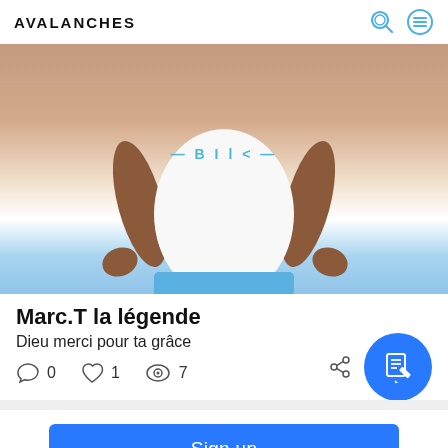AVALANCHES
[Figure (photo): A person wearing a white t-shirt and blue shorts/jeans, photographed from neck down. The face is cropped out. The shirt has some text in blue. Background is light.]
Marc.T la légende
Dieu merci pour ta grâce
0  1  7
Sign up